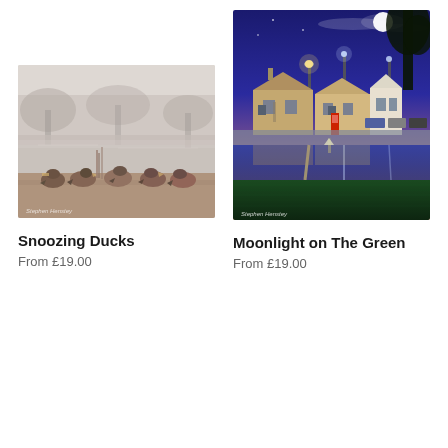[Figure (photo): Black and white / muted color photograph of ducks resting near a pond with bare trees and misty park background. Watermark 'Stephen Henstey' in bottom left.]
[Figure (photo): Night/blue hour photograph of a village green with a reflective pond, street lights, stone cottages, tree silhouette against purple-blue sky with moon. Watermark 'Stephen Henstey' in bottom left.]
Snoozing Ducks
From £19.00
Moonlight on The Green
From £19.00